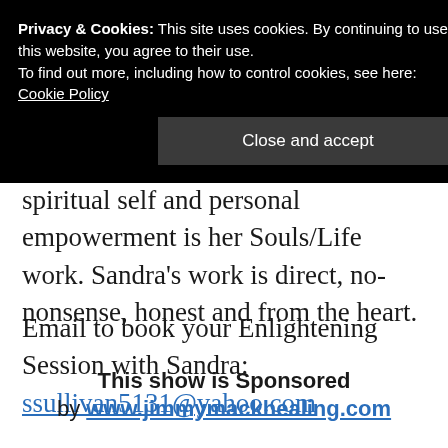insight for over 20 years. Sandra is a Reiki
Privacy & Cookies: This site uses cookies. By continuing to use this website, you agree to their use.
To find out more, including how to control cookies, see here: Cookie Policy
Close and accept
spiritual self and personal empowerment is her Souls/Life work. Sandra’s work is direct, no-nonsense, honest and from the heart.
Email to book your Enlightening Session with Sandra:  ssullivan5131@yahoo.com
This show is Sponsored by www.jimmymackhealing.com